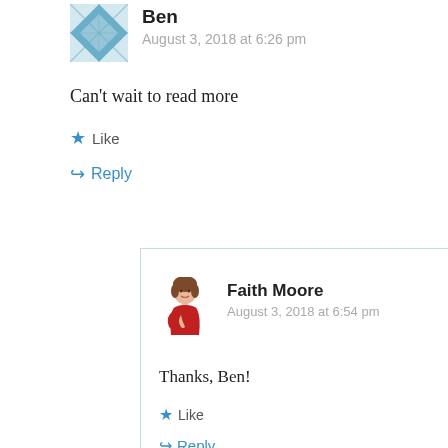Ben
August 3, 2018 at 6:26 pm
Can't wait to read more
Like
Reply
Faith Moore
August 3, 2018 at 6:54 pm
Thanks, Ben!
Like
Reply